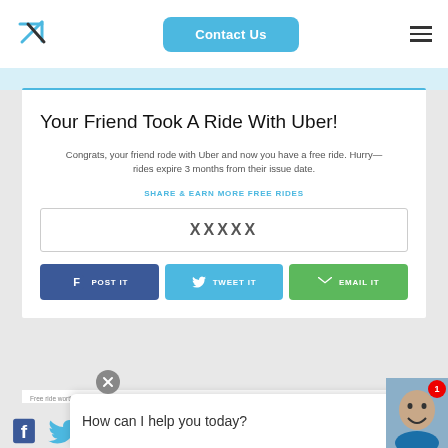[Figure (logo): X/arrow logo mark in blue on white nav bar]
Contact Us
[Figure (illustration): Hamburger menu icon (three horizontal lines)]
Your Friend Took A Ride With Uber!
Congrats, your friend rode with Uber and now you have a free ride. Hurry—rides expire 3 months from their issue date.
SHARE & EARN MORE FREE RIDES
XXXXX
POST IT
TWEET IT
EMAIL IT
Free ride worth up to $15 in value. Expires in 3 months. Good anywhere in your country. Offer not valid f
How can I help you today?